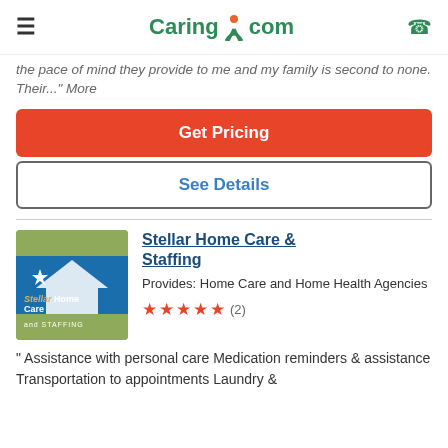Caring.com
the pace of mind they provide to me and my family is second to none. Their..." More
Get Pricing
See Details
Stellar Home Care & Staffing
Provides: Home Care and Home Health Agencies
★★★★★ (2)
" Assistance with personal care Medication reminders & assistance Transportation to appointments Laundry &